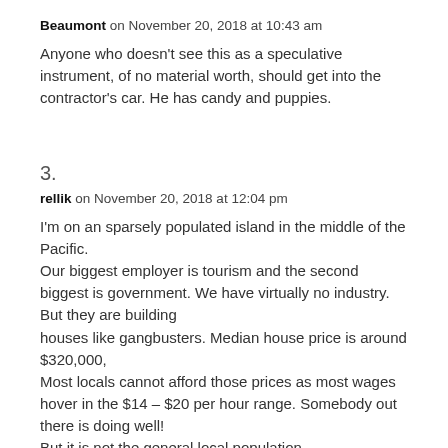Beaumont on November 20, 2018 at 10:43 am
Anyone who doesn't see this as a speculative instrument, of no material worth, should get into the contractor's car. He has candy and puppies.
3.
rellik on November 20, 2018 at 12:04 pm
I'm on an sparsely populated island in the middle of the Pacific.
Our biggest employer is tourism and the second biggest is government. We have virtually no industry. But they are building
houses like gangbusters. Median house price is around $320,000,
Most locals cannot afford those prices as most wages hover in the $14 – $20 per hour range. Somebody out there is doing well!
But it is not the general local population.